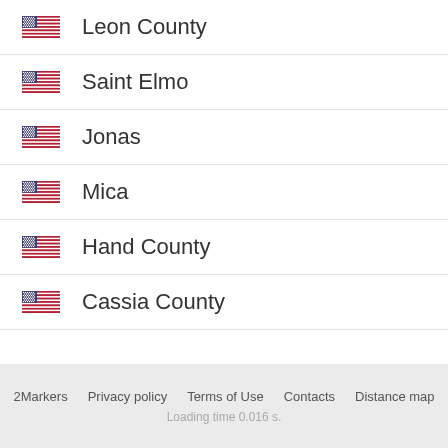Leon County
Saint Elmo
Jonas
Mica
Hand County
Cassia County
2Markers   Privacy policy   Terms of Use   Contacts   Distance map
Loading time 0.016 s.